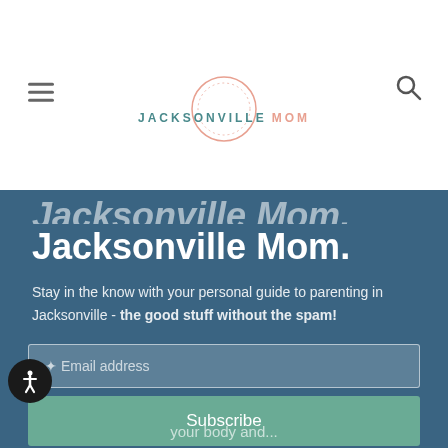JACKSONVILLE MOM
Jacksonville Mom.
Stay in the know with your personal guide to parenting in Jacksonville - the good stuff without the spam!
Email address
Subscribe
your body and...